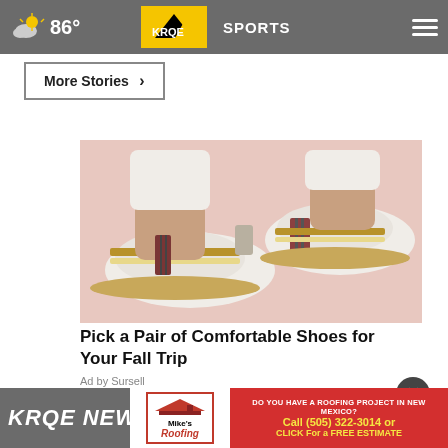86° KRQE SPORTS
More Stories ›
[Figure (photo): Close-up photo of a person's feet wearing white slip-on shoes with gold/bronze trim and studded details, paired with white jeans]
Pick a Pair of Comfortable Shoes for Your Fall Trip
Ad by Sursell
KRQE NEWS 13 Breaking News
[Figure (advertisement): Mike's Roofing advertisement: DO YOU HAVE A ROOFING PROJECT IN NEW MEXICO? Call (505) 322-3014 or CLICK For a FREE ESTIMATE]